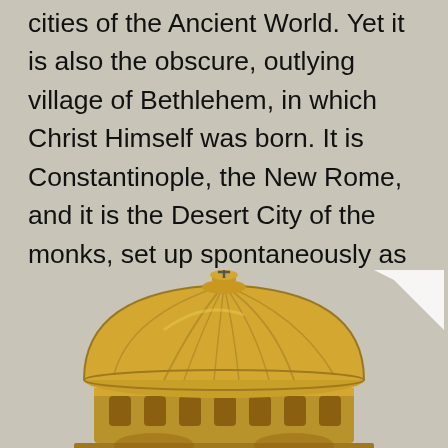standing on Mt. Zion high above the pagan cities of the Ancient World. Yet it is also the obscure, outlying village of Bethlehem, in which Christ Himself was born. It is Constantinople, the New Rome, and it is the Desert City of the monks, set up spontaneously as a spiritual alternative to the imperial city. It is the Heavenly City, which stands as a beacon to present-day civilization, and ultimately it is the New Jerusalem, for which we yearn and toward which we strive.
[Figure (illustration): Illustration of a golden Byzantine dome structure (resembling Hagia Sophia or similar domed church), shown from a front-elevation perspective with decorative ribbing on the dome, arched windows, and ornamental cross at the top. Rendered in gold and warm tones against the grey background.]